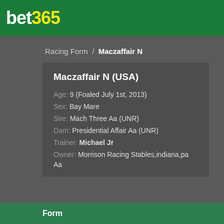bet365
Racing Form / Maczaffair N
Maczaffair N (USA)
Age: 9 (Foaled July 1st, 2013)
Sex: Bay Mare
Sire: Mach Three Aa (UNR)
Dam: Presidential Affair Aa (UNR)
Trainer: Michael Jr
Owner: Morrison Racing Stables,indiana,pa Aa
Form